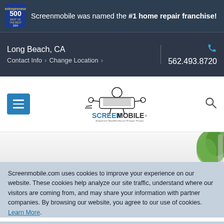Screenmobile was named the #1 home repair franchise!
Long Beach, CA
Contact Info › Change Location ›
562.493.8720
[Figure (logo): Screenmobile logo with screen character and text 'SCREENMOBILE America's Neighborhood Screen Stores']
[Figure (photo): Background hero image with green tree visible on right side]
Screenmobile.com uses cookies to improve your experience on our website. These cookies help analyze our site traffic, understand where our visitors are coming from, and may share your information with partner companies. By browsing our website, you agree to our use of cookies. Learn More.
Porch & Enclosures Repair
Accept